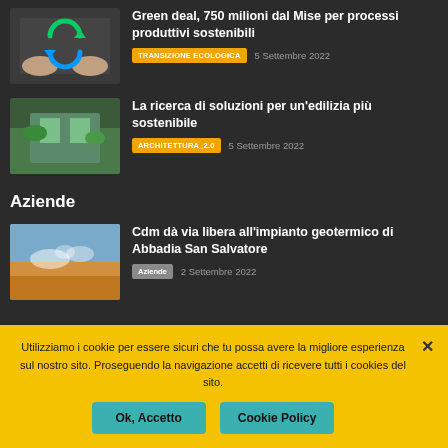[Figure (photo): Hands holding green recycling arrows symbol on dark background]
Green deal, 750 milioni dal Mise per processi produttivi sostenibili
TRANSIZIONE ECOLOGICA   5 Settembre 2022
[Figure (photo): Modern sustainable architecture building with greenery]
La ricerca di soluzioni per un'edilizia più sostenibile
ARCHITETTURA_2.0   5 Settembre 2022
Aziende
[Figure (photo): Geothermal landscape with steam and colorful mineral deposits]
Cdm dà via libera all'impianto geotermico di Abbadia San Salvatore
Aziende   2 Settembre 2022
Utilizziamo i cookie per essere sicuri che tu possa avere la migliore esperienza sul nostro sito. Proseguendo la navigazione accetti di ricevere tutti i cookies del sito.